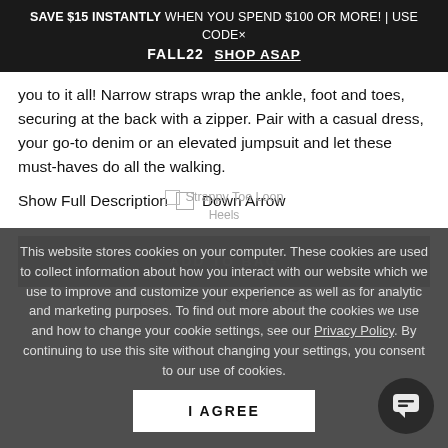SAVE $15 INSTANTLY WHEN YOU SPEND $100 OR MORE! | USE CODE× FALL22   SHOP ASAP
you to it all! Narrow straps wrap the ankle, foot and toes, securing at the back with a zipper. Pair with a casual dress, your go-to denim or an elevated jumpsuit and let these must-haves do all the walking.
Show Full Description  □  Down Arrow
ADD TO BAG
This website stores cookies on your computer. These cookies are used to collect information about how you interact with our website which we use to improve and customize your experience as well as for analytic and marketing purposes. To find out more about the cookies we use and how to change your cookie settings, see our Privacy Policy. By continuing to use this site without changing your settings, you consent to our use of cookies.
I AGREE